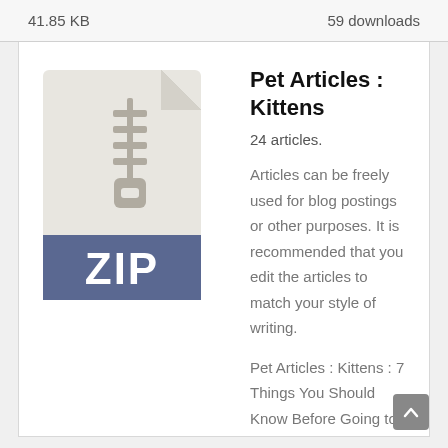41.85 KB    59 downloads
[Figure (illustration): ZIP file icon with zipper graphic on top and 'ZIP' label in dark blue/slate band at bottom]
Pet Articles : Kittens
24 articles.
Articles can be freely used for blog postings or other purposes. It is recommended that you edit the articles to match your style of writing.
Pet Articles : Kittens : 7 Things You Should Know Before Going to